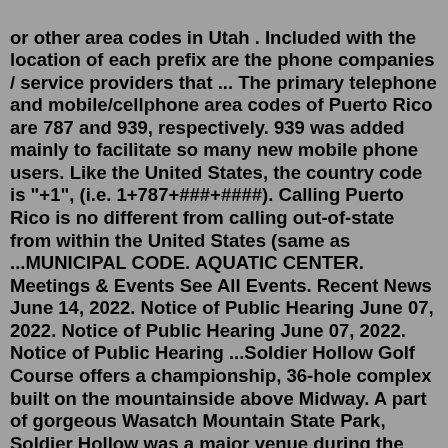or other area codes in Utah . Included with the location of each prefix are the phone companies / service providers that ... The primary telephone and mobile/cellphone area codes of Puerto Rico are 787 and 939, respectively. 939 was added mainly to facilitate so many new mobile phone users. Like the United States, the country code is "+1", (i.e. 1+787+###+####). Calling Puerto Rico is no different from calling out-of-state from within the United States (same as ...MUNICIPAL CODE. AQUATIC CENTER. Meetings & Events See All Events. Recent News June 14, 2022. Notice of Public Hearing June 07, 2022. Notice of Public Hearing June 07, 2022. Notice of Public Hearing ...Soldier Hollow Golf Course offers a championship, 36-hole complex built on the mountainside above Midway. A part of gorgeous Wasatch Mountain State Park, Soldier Hollow was a major venue during the 2002 Winter Olympics. Two 18-hole courses named the Gold and Silver courses offer challenging play and amazing